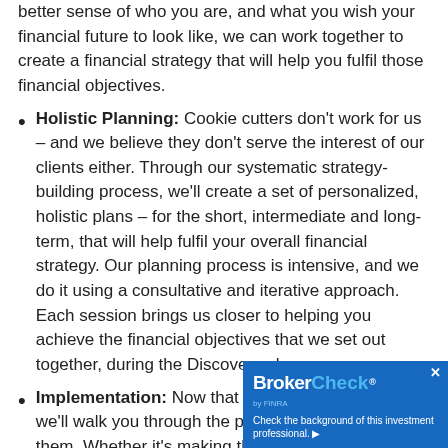better sense of who you are, and what you wish your financial future to look like, we can work together to create a financial strategy that will help you fulfil those financial objectives.
Holistic Planning: Cookie cutters don't work for us – and we believe they don't serve the interest of our clients either. Through our systematic strategy-building process, we'll create a set of personalized, holistic plans – for the short, intermediate and long-term, that will help fulfil your overall financial strategy. Our planning process is intensive, and we do it using a consultative and iterative approach. Each session brings us closer to helping you achieve the financial objectives that we set out together, during the Discovery phase.
Implementation: Now that the plans are in place, we'll walk you through the process of implementing them. Whether it's making the right inves...